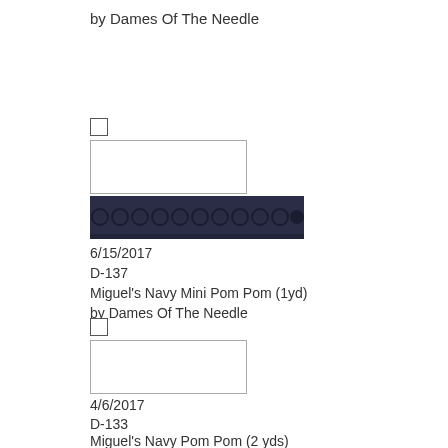by Dames Of The Needle
[Figure (photo): Navy mini pom pom trim product image]
6/15/2017
D-137
Miguel's Navy Mini Pom Pom (1yd)
by Dames Of The Needle
[Figure (photo): Navy pom pom trim product image]
4/6/2017
D-133
Miguel's Navy Pom Pom (2 yds)
by Dames Of The Needle